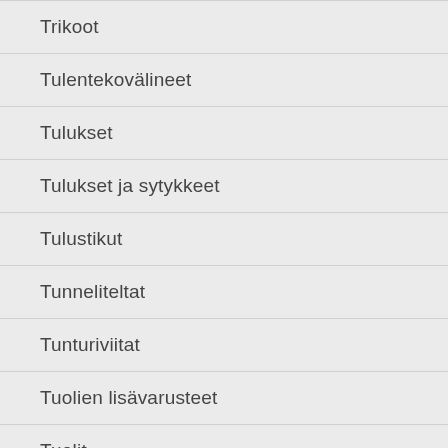Trikoot
Tulentekovälineet
Tulukset
Tulukset ja sytykkeet
Tulustikut
Tunneliteltat
Tunturiviitat
Tuolien lisävarusteet
Tuolit
Tupet ja kannikkeet